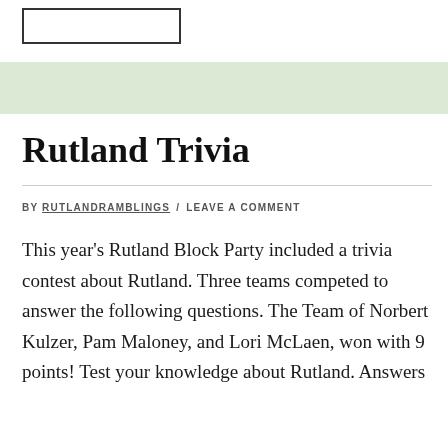[Figure (other): Logo or header image box — rectangular outlined box at top left]
Rutland Trivia
BY RUTLANDRAMBLINGS / LEAVE A COMMENT
This year's Rutland Block Party included a trivia contest about Rutland. Three teams competed to answer the following questions. The Team of Norbert Kulzer, Pam Maloney, and Lori McLaen, won with 9 points! Test your knowledge about Rutland. Answers